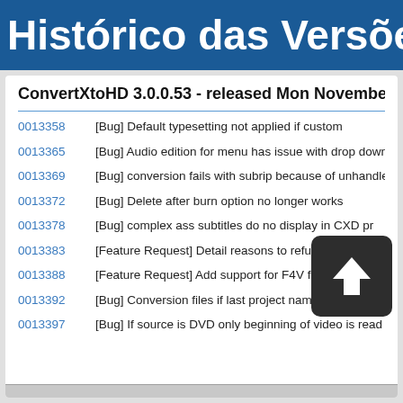Histórico das Versões: Con
ConvertXtoHD 3.0.0.53 - released Mon November
0013358  [Bug] Default typesetting not applied if custom
0013365  [Bug] Audio edition for menu has issue with drop down translation
0013369  [Bug] conversion fails with subrip because of unhandled exception
0013372  [Bug] Delete after burn option no longer works
0013378  [Bug] complex ass subtitles do no display in CXD pr... ou
0013383  [Feature Request] Detail reasons to refuse remux
0013388  [Feature Request] Add support for F4V files
0013392  [Bug] Conversion files if last project name letter is a space for DVD
0013397  [Bug] If source is DVD only beginning of video is read